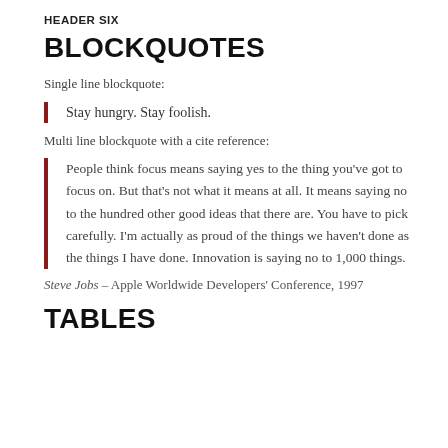HEADER SIX
BLOCKQUOTES
Single line blockquote:
Stay hungry. Stay foolish.
Multi line blockquote with a cite reference:
People think focus means saying yes to the thing you've got to focus on. But that's not what it means at all. It means saying no to the hundred other good ideas that there are. You have to pick carefully. I'm actually as proud of the things we haven't done as the things I have done. Innovation is saying no to 1,000 things.
Steve Jobs – Apple Worldwide Developers' Conference, 1997
TABLES